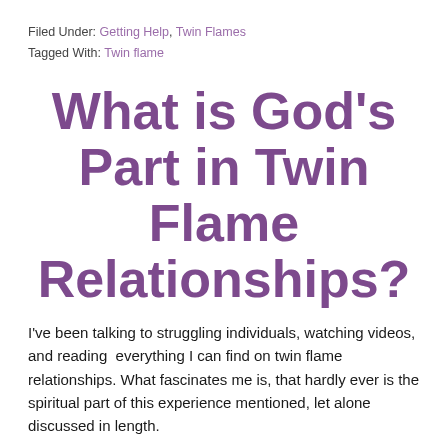Filed Under: Getting Help, Twin Flames
Tagged With: Twin flame
What is God's Part in Twin Flame Relationships?
I've been talking to struggling individuals, watching videos, and reading  everything I can find on twin flame relationships. What fascinates me is, that hardly ever is the spiritual part of this experience mentioned, let alone discussed in length.
How do people go through this without believing in God or a Higher Power? And if they do, why don't they talk